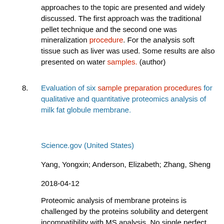approaches to the topic are presented and widely discussed. The first approach was the traditional pellet technique and the second one was mineralization procedure. For the analysis soft tissue such as liver was used. Some results are also presented on water samples. (author)
8. Evaluation of six sample preparation procedures for qualitative and quantitative proteomics analysis of milk fat globule membrane.
Science.gov (United States)
Yang, Yongxin; Anderson, Elizabeth; Zhang, Sheng
2018-04-12
Proteomic analysis of membrane proteins is challenged by the proteins solubility and detergent incompatibility with MS analysis. No single perfect protocol can be used to comprehensively characterize the proteome of membrane fraction. Here, we used cow milk fat globule membrane (MFGM) proteome analysis to assess six sample preparation procedures including one in-gel and five in-solution digestion approaches prior to LC-MS/MS analysis. The largest number of MFGM